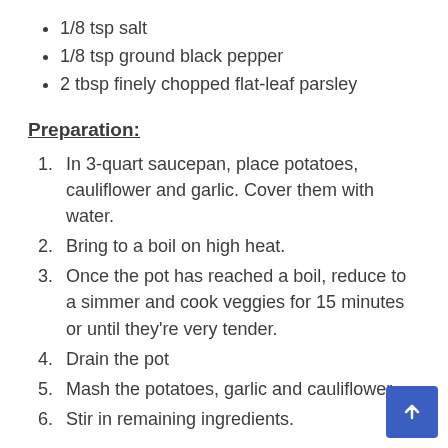1/8 tsp salt
1/8 tsp ground black pepper
2 tbsp finely chopped flat-leaf parsley
Preparation:
1. In 3-quart saucepan, place potatoes, cauliflower and garlic. Cover them with water.
2. Bring to a boil on high heat.
3. Once the pot has reached a boil, reduce to a simmer and cook veggies for 15 minutes or until they're very tender.
4. Drain the pot
5. Mash the potatoes, garlic and cauliflower.
6. Stir in remaining ingredients.